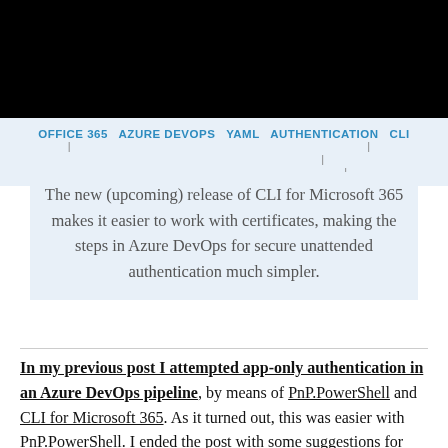[Black header bar]
OFFICE 365  AZURE DEVOPS  YAML  AUTHENTICATION  CLI
The new (upcoming) release of CLI for Microsoft 365 makes it easier to work with certificates, making the steps in Azure DevOps for secure unattended authentication much simpler.
In my previous post I attempted app-only authentication in an Azure DevOps pipeline, by means of PnP.PowerShell and CLI for Microsoft 365. As it turned out, this was easier with PnP.PowerShell. I ended the post with some suggestions for CLI and posted them as suggestions on their GitHub issue tracker. The CLI